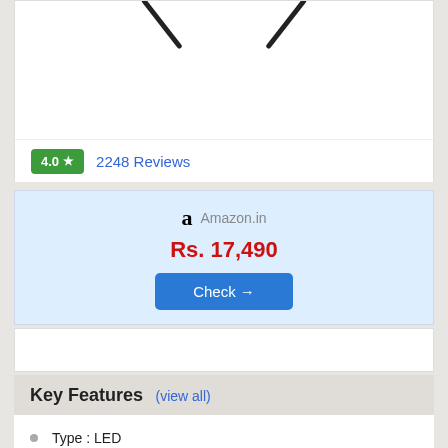[Figure (photo): Partial view of a TV product image showing antenna/stand tips against white background]
4.0 ★  2248 Reviews
Amazon.in
Rs. 17,490
Check →
Key Features (view all)
Type : LED
Screen Size : 43 Inches
Display : Full HD
Resolution : 1920 x 1080 Pixels